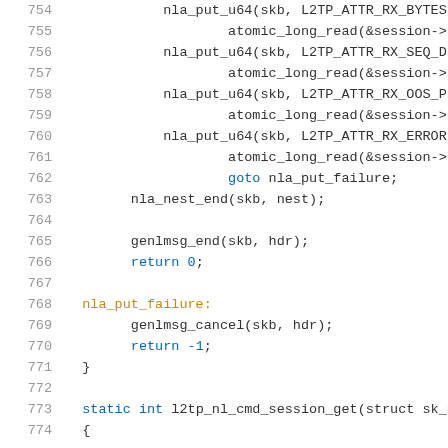[Figure (screenshot): Source code listing showing C kernel code lines 754–774, with syntax highlighting. Functions include nla_put_u64, atomic_long_read, goto nla_put_failure, nla_nest_end, genlmsg_end, return 0, nla_put_failure label, genlmsg_cancel, return -1, closing brace, static int l2tp_nl_cmd_session_get function start.]